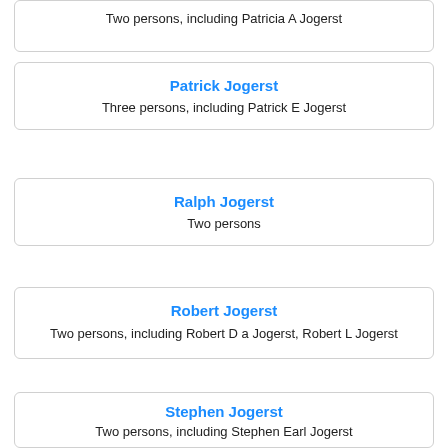Two persons, including Patricia A Jogerst
Patrick Jogerst
Three persons, including Patrick E Jogerst
Ralph Jogerst
Two persons
Robert Jogerst
Two persons, including Robert D a Jogerst, Robert L Jogerst
Stephen Jogerst
Two persons, including Stephen Earl Jogerst